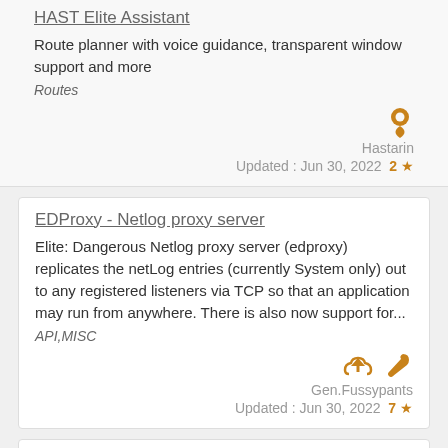HAST Elite Assistant
Route planner with voice guidance, transparent window support and more
Routes
Hastarin
Updated : Jun 30, 2022  2 ★
EDProxy - Netlog proxy server
Elite: Dangerous Netlog proxy server (edproxy) replicates the netLog entries (currently System only) out to any registered listeners via TCP so that an application may run from anywhere. There is also now support for...
API,MISC
Gen.Fussypants
Updated : Jun 30, 2022  7 ★
Trade Computer Extension Mk.I
Multifunctional trading tool, that integrates fully into the HUD